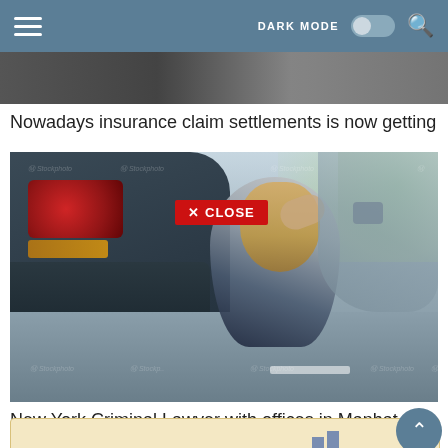DARK MODE  [toggle]  [search]
Nowadays insurance claim settlements is now getting
[Figure (photo): Woman sitting on the road next to a rear-ended car, looking distressed, stock photo with watermarks]
New York Criminal Lawyer with offices in Manhattan